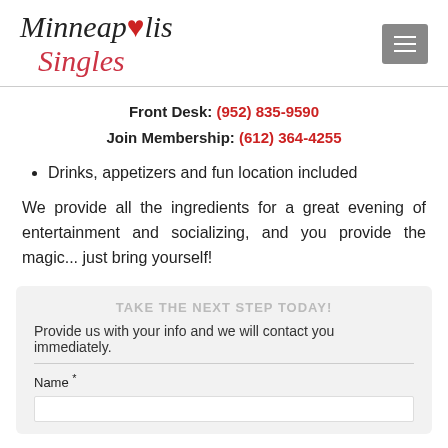Minneapolis Singles logo and navigation menu
Front Desk: (952) 835-9590
Join Membership: (612) 364-4255
Drinks, appetizers and fun location included
We provide all the ingredients for a great evening of entertainment and socializing, and you provide the magic... just bring yourself!
TAKE THE NEXT STEP TODAY!
Provide us with your info and we will contact you immediately.
Name *